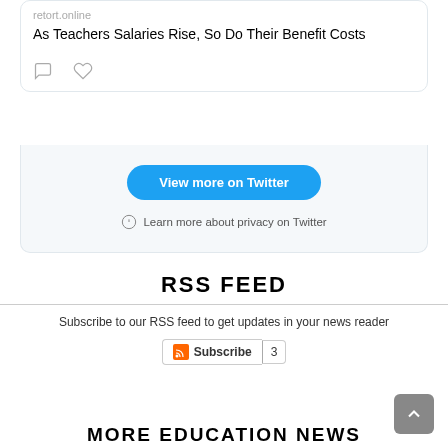retort.online
As Teachers Salaries Rise, So Do Their Benefit Costs
[Figure (screenshot): Twitter embed bottom section with 'View more on Twitter' blue button and 'Learn more about privacy on Twitter' link with info icon]
RSS FEED
Subscribe to our RSS feed to get updates in your news reader
Subscribe | 3
MORE EDUCATION NEWS